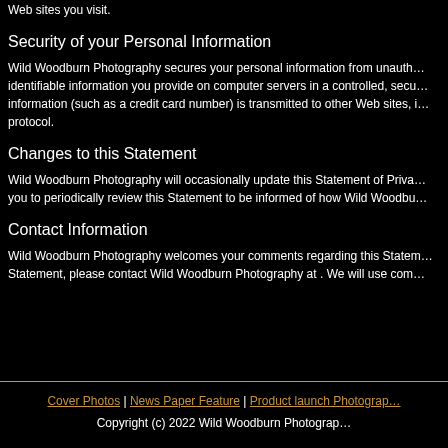Web sites you visit.
Security of your Personal Information
Wild Woodburn Photography secures your personal information from unauthorized access, use or disclosure. Wild Woodburn Photography secures the personally identifiable information you provide on computer servers in a controlled, secure environment, protected from unauthorized access, use or disclosure. When personal information (such as a credit card number) is transmitted to other Web sites, it is protected through the use of encryption, such as the Secure Socket Layer (SSL) protocol.
Changes to this Statement
Wild Woodburn Photography will occasionally update this Statement of Privacy to reflect company and customer feedback. Wild Woodburn Photography encourages you to periodically review this Statement to be informed of how Wild Woodburn Photography is protecting your information.
Contact Information
Wild Woodburn Photography welcomes your comments regarding this Statement of Privacy. If you believe that Wild Woodburn Photography has not adhered to this Statement, please contact Wild Woodburn Photography at . We will use commercially reasonable efforts to promptly determine and remedy the problem.
Cover Photos | News Paper Feature | Product launch Photography
Copyright (c) 2022 Wild Woodburn Photography